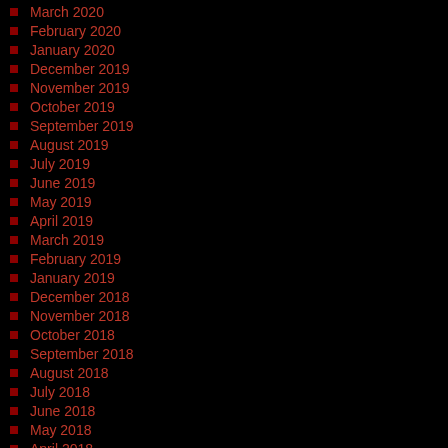March 2020
February 2020
January 2020
December 2019
November 2019
October 2019
September 2019
August 2019
July 2019
June 2019
May 2019
April 2019
March 2019
February 2019
January 2019
December 2018
November 2018
October 2018
September 2018
August 2018
July 2018
June 2018
May 2018
April 2018